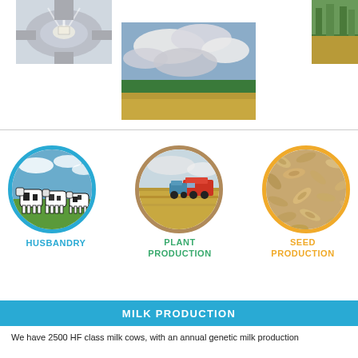[Figure (photo): Top-left photo: circular road or roundabout view from above, light shining]
[Figure (photo): Center-top photo: dramatic cloudy sky over a green forest and golden field]
[Figure (photo): Top-right partial photo: green trees and field]
[Figure (photo): Circle image of Holstein dairy cows in a field under blue sky, bordered in blue — HUSBANDRY]
[Figure (photo): Circle image of grain field with harvesting machinery, bordered in tan — PLANT PRODUCTION]
[Figure (photo): Circle image of seeds/grain close-up, bordered in gold — SEED PRODUCTION]
HUSBANDRY
PLANT PRODUCTION
SEED PRODUCTION
MILK PRODUCTION
We have 2500 HF class milk cows, with an annual genetic milk production